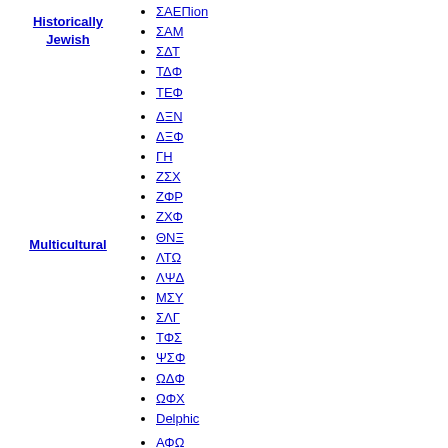Historically Jewish
ΣΑΕΠion
ΣΑΜ
ΣΔΤ
ΤΔΦ
ΤΕΦ
Multicultural
ΔΞΝ
ΔΞΦ
ΓΗ
ΖΣΧ
ΖΦΡ
ΖΧΦ
ΘΝΞ
ΛΤΩ
ΛΨΔ
ΜΣΥ
ΣΛΓ
ΤΦΣ
ΨΣΦ
ΩΔΦ
ΩΦΧ
Delphic
Historically
ΑΦΩ
ΕΤΠ